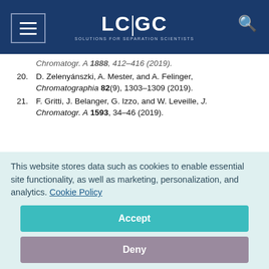LC|GC — Solutions for Separation Scientists
Chromatogr. A 1888, 412–416 (2019).
20. D. Zelenyánszki, A. Mester, and A. Felinger, Chromatographia 82(9), 1303–1309 (2019).
21. F. Gritti, J. Belanger, G. Izzo, and W. Leveille, J. Chromatogr. A 1593, 34–46 (2019).
Dóra Zelenyánszki is a Ph.D. student at the Department of Analytical and Environmental Chemistry at the University of Pécs, in Hungary. She graduated with a BSc degree in environmental engineering in 2011, and with an MA degree as
This website stores data such as cookies to enable essential site functionality, as well as marketing, personalization, and analytics. Cookie Policy
Accept
Deny